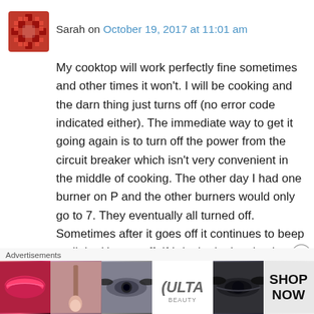Sarah on October 19, 2017 at 11:01 am
My cooktop will work perfectly fine sometimes and other times it won't. I will be cooking and the darn thing just turns off (no error code indicated either). The immediate way to get it going again is to turn off the power from the circuit breaker which isn't very convenient in the middle of cooking. The other day I had one burner on P and the other burners would only go to 7. They eventually all turned off. Sometimes after it goes off it continues to beep until the H goes off. If I don't trip the circuit breaker it will eventually reset on it's own. This has been going on for a...
Advertisements
[Figure (photo): Ulta beauty advertisement banner showing makeup imagery with lips, brush, eye makeup, Ulta logo, and SHOP NOW call to action]